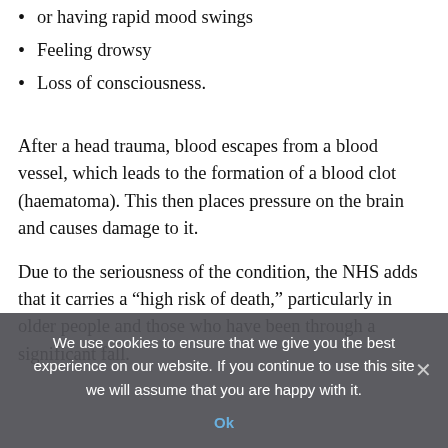or having rapid mood swings
Feeling drowsy
Loss of consciousness.
After a head trauma, blood escapes from a blood vessel, which leads to the formation of a blood clot (haematoma). This then places pressure on the brain and causes damage to it.
Due to the seriousness of the condition, the NHS adds that it carries a “high risk of death,” particularly in older people and those who have been through a significant fall.
Acute subdural haematomas are the most serious type because they’re often associated with significant damage to the brain.
We use cookies to ensure that we give you the best experience on our website. If you continue to use this site we will assume that you are happy with it.